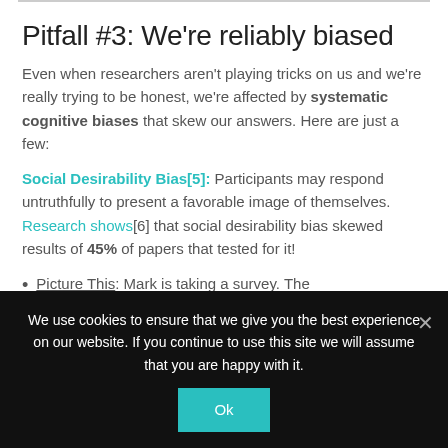Pitfall #3: We're reliably biased
Even when researchers aren't playing tricks on us and we're really trying to be honest, we're affected by systematic cognitive biases that skew our answers. Here are just a few:
Social Desirability Bias[5]: Participants may respond untruthfully to present a favorable image of themselves. Research shows[6] that social desirability bias skewed results of 45% of papers that tested for it!
Picture This: Mark is taking a survey. The ...
We use cookies to ensure that we give you the best experience on our website. If you continue to use this site we will assume that you are happy with it.